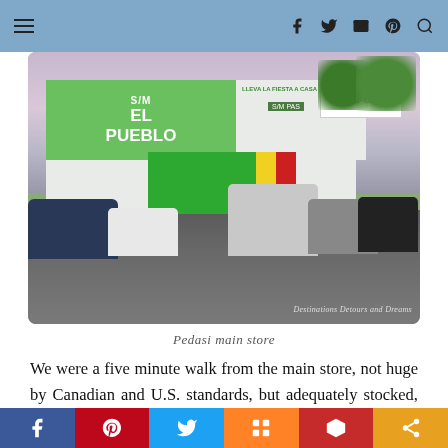Navigation bar with hamburger menu and social icons
[Figure (photo): Exterior of S/M El Pueblo main store in Pedasi, Panama. A colorful green grocery store building with S/M EL PUEBLO signage, Coca-Cola sign, parked cars in front, and a road in the foreground. Watermark reads: Destinations Detours and Dreams]
Pedasi main store
We were a five minute walk from the main store, not huge by Canadian and U.S. standards, but adequately stocked, although availability of particular items varied throughout the week depending on last stocking time.